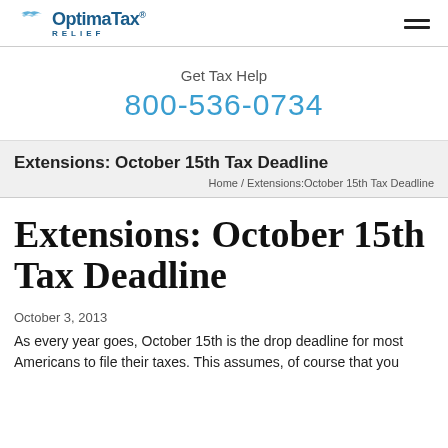Optima Tax Relief | 800-536-0734
Get Tax Help
800-536-0734
Extensions: October 15th Tax Deadline
Home / Extensions:October 15th Tax Deadline
Extensions: October 15th Tax Deadline
October 3, 2013
As every year goes, October 15th is the drop deadline for most Americans to file their taxes. This assumes, of course that you